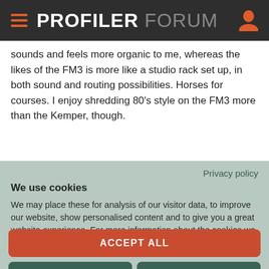PROFILER FORUM
sounds and feels more organic to me, whereas the likes of the FM3 is more like a studio rack set up, in both sound and routing possibilities. Horses for courses. I enjoy shredding 80's style on the FM3 more than the Kemper, though.
Privacy policy
We use cookies
We may place these for analysis of our visitor data, to improve our website, show personalised content and to give you a great website experience. For more information about the cookies we use open the settings.
ACCEPT ALL
DENY
NO, ADJUST